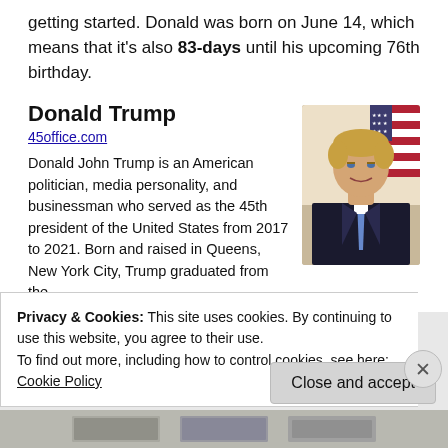getting started. Donald was born on June 14, which means that it's also 83-days until his upcoming 76th birthday.
Donald Trump
45office.com
Donald John Trump is an American politician, media personality, and businessman who served as the 45th president of the United States from 2017 to 2021. Born and raised in Queens, New York City, Trump graduated from the
[Figure (photo): Portrait photo of Donald Trump in a dark suit with a blue tie, smiling, with an American flag in the background]
Privacy & Cookies: This site uses cookies. By continuing to use this website, you agree to their use.
To find out more, including how to control cookies, see here: Cookie Policy